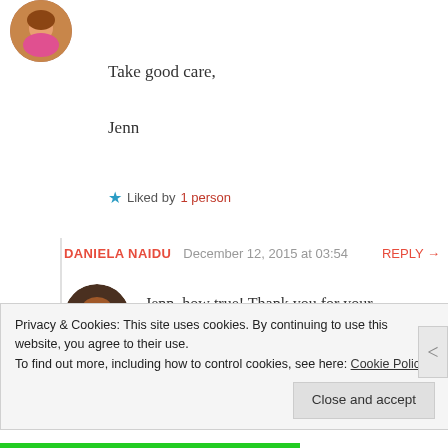[Figure (photo): Circular avatar photo of a woman in the top left corner]
Take good care,
Jenn
★ Liked by 1 person
DANIELA NAIDU   December 12, 2015 at 03:54   REPLY →
[Figure (photo): Circular avatar photo of a woman with reddish-brown hair]
Jenn, how true! Thank you for your comment.
★ Like
Privacy & Cookies: This site uses cookies. By continuing to use this website, you agree to their use.
To find out more, including how to control cookies, see here: Cookie Policy
Close and accept